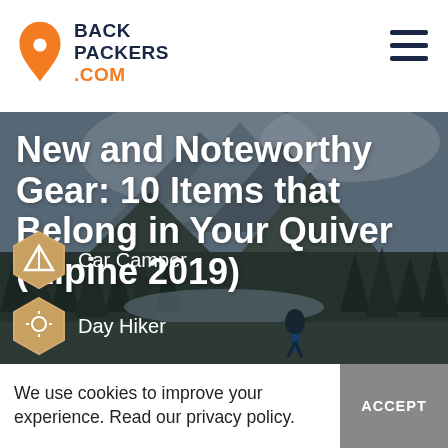BACK PACKERS .COM
[Figure (photo): Alpine mountain landscape with trees, a river valley, and hiker in the distance used as hero background image]
New and Noteworthy Gear: 10 Items that Belong in Your Quiver (Alpine 2019)
Car Camper
Day Hiker
We use cookies to improve your experience. Read our privacy policy.
ACCEPT